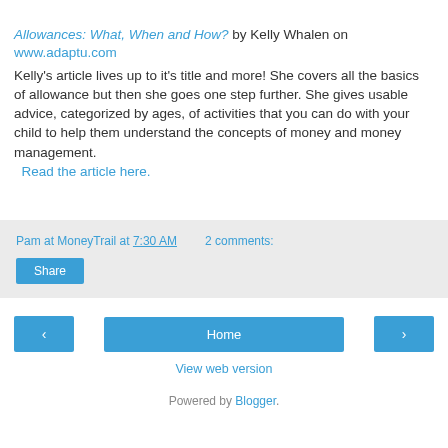Allowances:  What, When and How? by Kelly Whalen on www.adaptu.com Kelly's article lives up to it's title and more!  She covers all the basics of allowance but then she goes one step further.  She gives usable advice, categorized by ages, of activities that you can do with your child to help them understand the concepts of money and money management.  Read the article here.
Pam at MoneyTrail at 7:30 AM    2 comments:
Share
‹   Home   ›
View web version
Powered by Blogger.